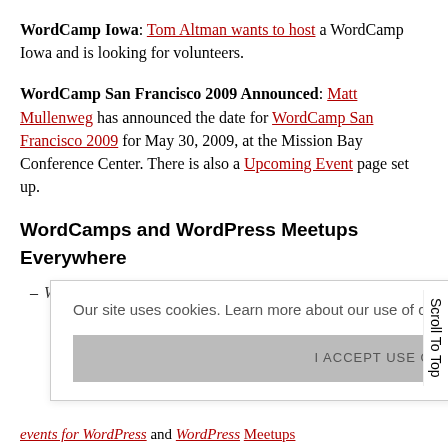WordCamp Iowa: Tom Altman wants to host a WordCamp Iowa and is looking for volunteers.
WordCamp San Francisco 2009 Announced: Matt Mullenweg has announced the date for WordCamp San Francisco 2009 for May 30, 2009, at the Mission Bay Conference Center. There is also a Upcoming Event page set up.
WordCamps and WordPress Meetups Everywhere
WordPress Meetup: A WordPress Meetup is a ... If you would ... up, find a ... g your ... Upcoming ... Events for WordPress and WordPress Meetups
Our site uses cookies. Learn more about our use of cookies: cookie policy
I ACCEPT USE OF COOKIES
Scroll To Top